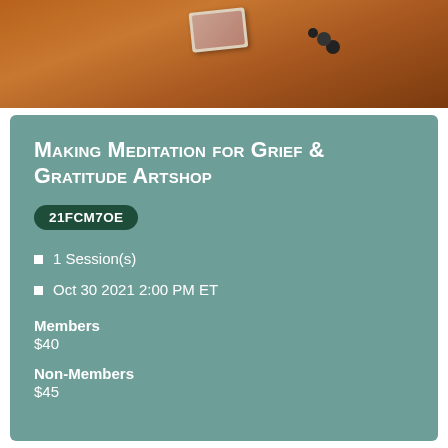[Figure (photo): Partial view of a wooden surface with a card/tarot card and dark beads/rosary visible]
Making Meditation for Grief & Gratitude Artshop
21FCM7OE
1 Session(s)
Oct 30 2021 2:00 PM ET
Members
$40
Non-Members
$45